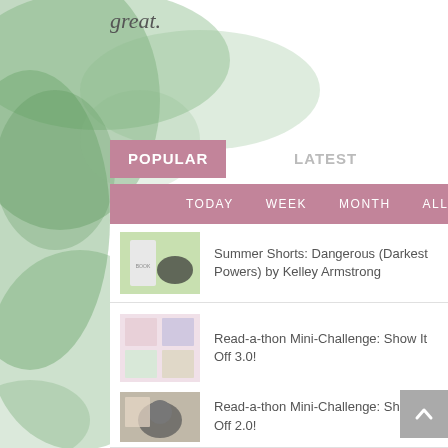great.
POPULAR
LATEST
TODAY   WEEK   MONTH   ALL
Summer Shorts: Dangerous (Darkest Powers) by Kelley Armstrong
Read-a-thon Mini-Challenge: Show It Off 3.0!
Read-a-thon Mini-Challenge: Show It Off 2.0!
Summer Shorts: Kelley Armstrong!
BEA 2013: the book haul